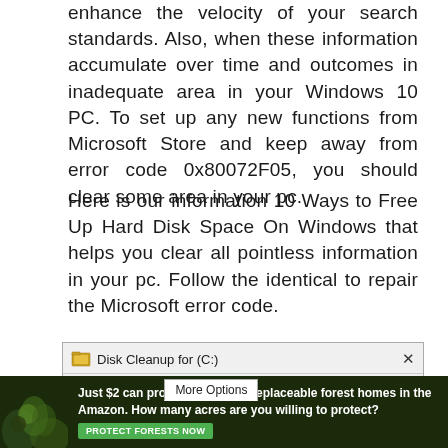enhance the velocity of your search standards. Also, when these information accumulate over time and outcomes in inadequate area in your Windows 10 PC. To set up any new functions from Microsoft Store and keep away from error code 0x80072F05, you should clear some area in your pc.
Here is our information 10 Ways to Free Up Hard Disk Space On Windows that helps you clear all pointless information in your pc. Follow the identical to repair the Microsoft error code.
[Figure (screenshot): Windows Disk Cleanup dialog screenshot showing title bar 'Disk Cleanup for (C:)' with close button, and two tabs: 'Disk Cleanup' (inactive) and 'More Options' (active)]
[Figure (infographic): Advertisement banner with dark forest background. Text reads: 'Just $2 can protect 1 acre of irreplaceable forest homes in the Amazon. How many acres are you willing to protect?' with a green 'PROTECT FORESTS NOW' button.]